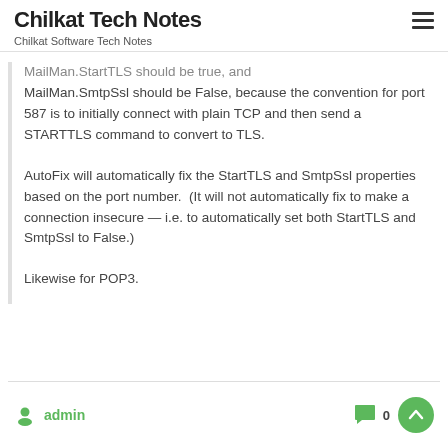Chilkat Tech Notes
Chilkat Software Tech Notes
MailMan.StartTLS should be true, and MailMan.SmtpSsl should be False, because the convention for port 587 is to initially connect with plain TCP and then send a STARTTLS command to convert to TLS.
AutoFix will automatically fix the StartTLS and SmtpSsl properties based on the port number.  (It will not automatically fix to make a connection insecure — i.e. to automatically set both StartTLS and SmtpSsl to False.)
Likewise for POP3.
admin  0